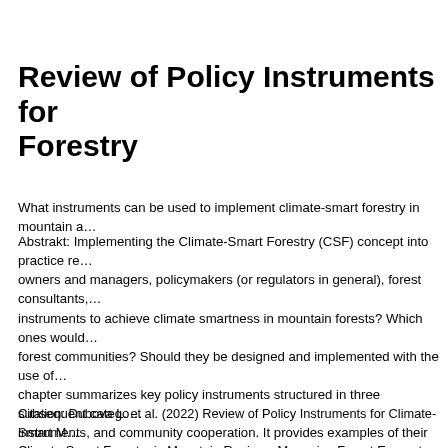Review of Policy Instruments for Forestry
What instruments can be used to implement climate-smart forestry in mountain a…
Abstrakt: Implementing the Climate-Smart Forestry (CSF) concept into practice re… owners and managers, policymakers (or regulators in general), forest consultants,… instruments to achieve climate smartness in mountain forests? Which ones would… forest communities? Should they be designed and implemented with the use of… chapter summarizes key policy instruments structured in three subsequent catego… instruments, and community cooperation. It provides examples of their functionin… implementation of climate smart forestry. It appears that there are many policy in… concessions or voluntary certification schemes. A wide range of instruments are re… to deal with natural hazards and calamities.
Citation: Dubova L. et al. (2022) Review of Policy Instruments for Climate-Smart M… Climate-Smart Forestry in Mountain Regions: Managing Forest Ecosystems and (8…